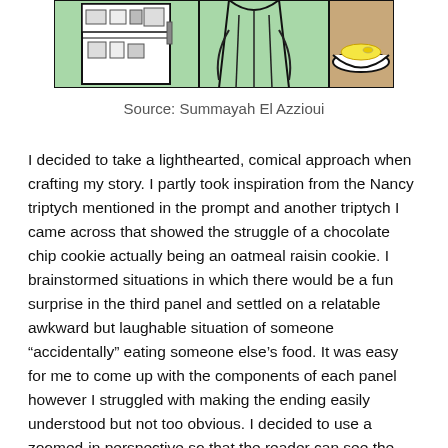[Figure (illustration): Partial view of a three-panel comic strip with green background panels. Left panel shows a refrigerator with items on shelves. Middle panel shows a person's torso and arms. Right panel shows a bowl with yellow content (food) on a brown/tan background.]
Source: Summayah El Azzioui
I decided to take a lighthearted, comical approach when crafting my story. I partly took inspiration from the Nancy triptych mentioned in the prompt and another triptych I came across that showed the struggle of a chocolate chip cookie actually being an oatmeal raisin cookie. I brainstormed situations in which there would be a fun surprise in the third panel and settled on a relatable awkward but laughable situation of someone “accidentally” eating someone else’s food. It was easy for me to come up with the components of each panel however I struggled with making the ending easily understood but not too obvious. I decided to use a zoomed-in perspective so that the reader can see the thief’s reaction and the subtle clue on the food